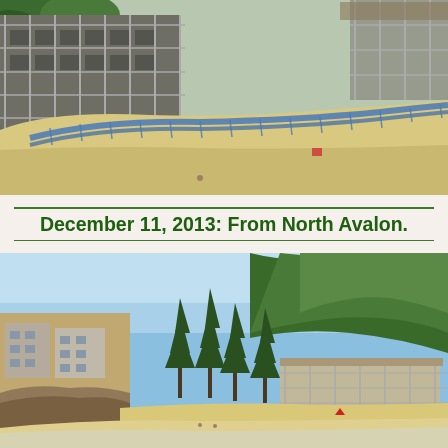[Figure (photo): Aerial/close-up view of a building under construction on a beach, with blue safety netting along a sand berm, scaffolding on the building facade, surrounded by sandy beach and some vegetation. Taken from above looking down.]
December 11, 2013: From North Avalon.
[Figure (photo): Wide landscape view of Avalon beach from North Avalon, showing a sandy beach with a few people, the under-construction beach club/building in the middle-background surrounded by tall Norfolk Island pine trees, residential buildings on the left cliff, and densely wooded hillside on the right, under a clear blue sky.]